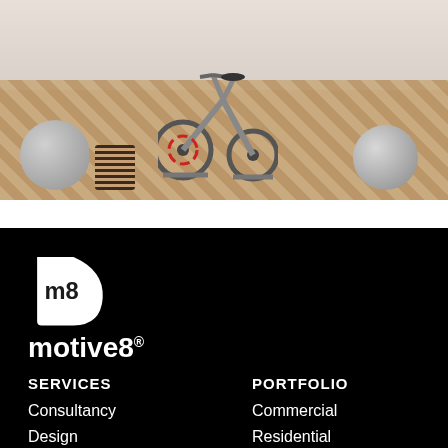[Figure (photo): A gym/fitness room interior with a spin bike or exercise bike in the center, a large exercise ball on the left, a woven basket, and another exercise ball on the right. The floor is a herringbone wood pattern and the walls are light grey/white.]
[Figure (logo): motive8 company logo — a white rounded D-shape icon with 'm8' text inside, and 'motive8' wordmark below with a registered trademark symbol, all in white on black background.]
SERVICES
Consultancy
Design
PORTFOLIO
Commercial
Residential